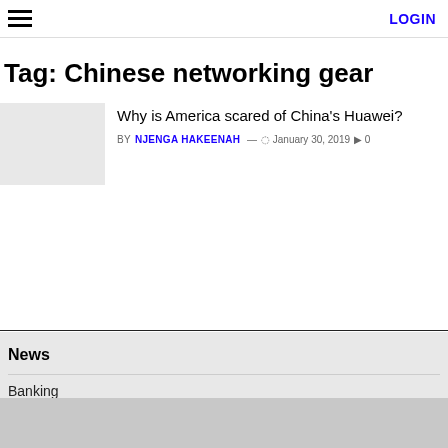≡  LOGIN
Tag: Chinese networking gear
[Figure (photo): Article thumbnail image placeholder (light gray rectangle)]
Why is America scared of China's Huawei?
BY NJENGA HAKEENAH — January 30, 2019 0
News
Banking